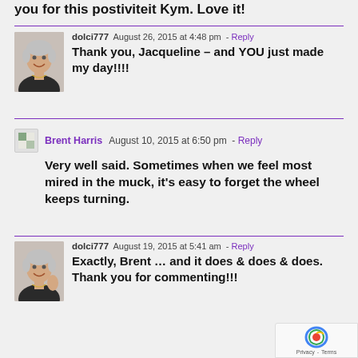you for this postiviteit Kym. Love it!
dolci777  August 26, 2015 at 4:48 pm  - Reply
Thank you, Jacqueline – and YOU just made my day!!!!
Brent Harris  August 10, 2015 at 6:50 pm  - Reply
Very well said. Sometimes when we feel most mired in the muck, it's easy to forget the wheel keeps turning.
dolci777  August 19, 2015 at 5:41 am  - Reply
Exactly, Brent … and it does & does & does. Thank you for commenting!!!